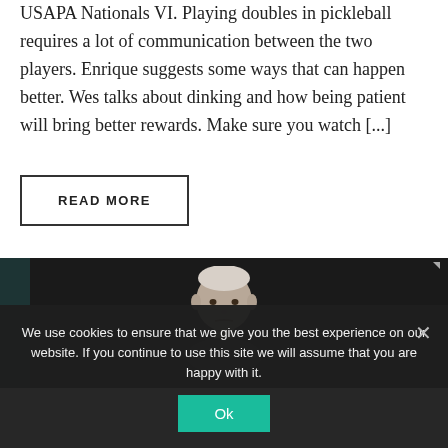USAPA Nationals VI.  Playing doubles in pickleball requires a lot of communication between the two players.  Enrique suggests some ways that can happen better. Wes talks about dinking and how being patient will bring better rewards.  Make sure you watch [...]
READ MORE
[Figure (photo): Dark photo showing a man with grey/white hair on a pickleball court with dark background and teal vertical element on the left side]
We use cookies to ensure that we give you the best experience on our website. If you continue to use this site we will assume that you are happy with it.